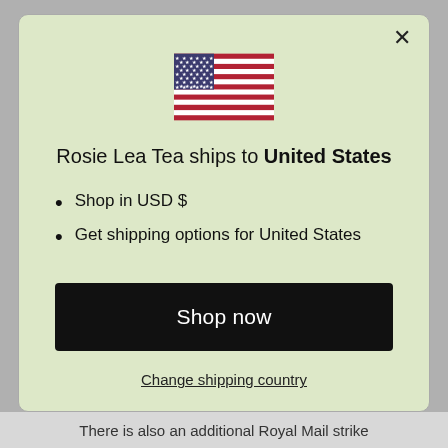[Figure (illustration): US flag emoji/icon centered at top of modal]
Rosie Lea Tea ships to United States
Shop in USD $
Get shipping options for United States
Shop now
Change shipping country
There is also an additional Royal Mail strike